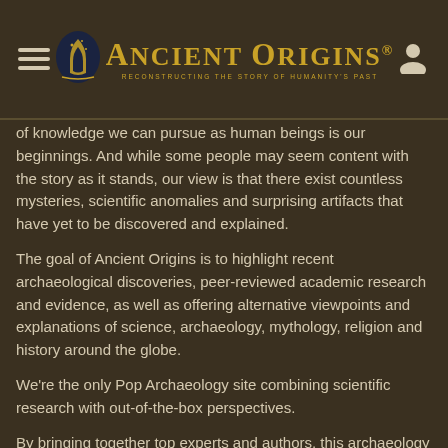Ancient Origins — Reconstructing the story of humanity's past
of knowledge we can pursue as human beings is our beginnings. And while some people may seem content with the story as it stands, our view is that there exist countless mysteries, scientific anomalies and surprising artifacts that have yet to be discovered and explained.
The goal of Ancient Origins is to highlight recent archaeological discoveries, peer-reviewed academic research and evidence, as well as offering alternative viewpoints and explanations of science, archaeology, mythology, religion and history around the globe.
We're the only Pop Archaeology site combining scientific research with out-of-the-box perspectives.
By bringing together top experts and authors, this archaeology website explores lost civilizations, examines sacred writings, tours ancient places, investigates ancient discoveries and questions mysterious happenings. Our open community is dedicated to digging into the origins of our species on planet earth, and question